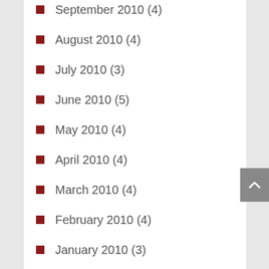September 2010 (4)
August 2010 (4)
July 2010 (3)
June 2010 (5)
May 2010 (4)
April 2010 (4)
March 2010 (4)
February 2010 (4)
January 2010 (3)
December 2009 (2)
November 2009 (2)
October 2009 (2)